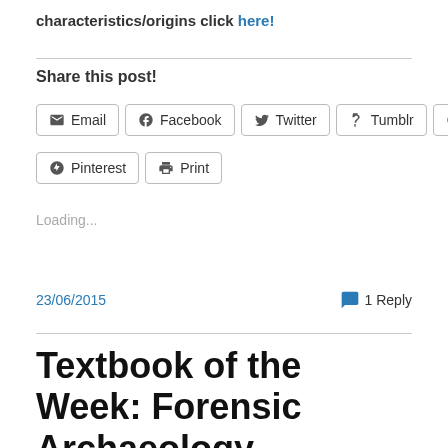characteristics/origins click here!
Share this post!
[Figure (other): Social sharing buttons: Email, Facebook, Twitter, Tumblr, Reddit, Pinterest, Print]
Loading...
23/06/2015    1 Reply
Textbook of the Week: Forensic Archaeology Advances in Theory and